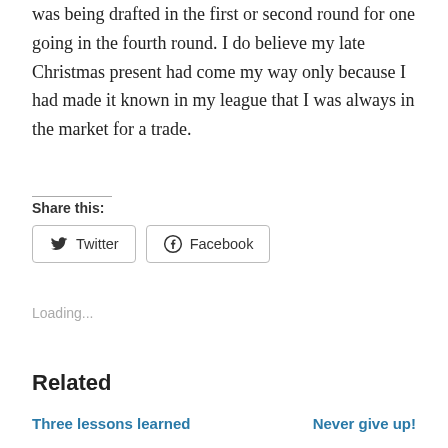was being drafted in the first or second round for one going in the fourth round. I do believe my late Christmas present had come my way only because I had made it known in my league that I was always in the market for a trade.
Share this:
Twitter   Facebook
Loading...
Related
Three lessons learned   Never give up!